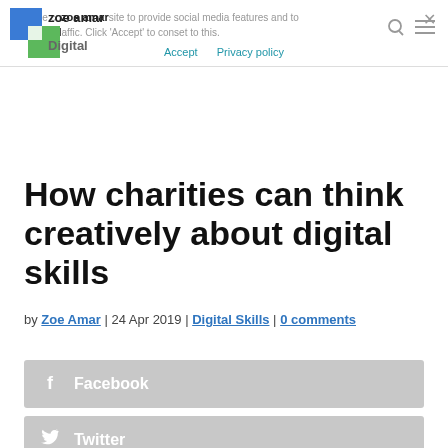We use cookies on this site to provide social media features and to monitor web traffic. Click 'Accept' to consent to this. Accept  Privacy policy
[Figure (logo): Zoe Amar Digital logo with colorful squares]
How charities can think creatively about digital skills
by Zoe Amar | 24 Apr 2019 | Digital Skills | 0 comments
Facebook
Twitter